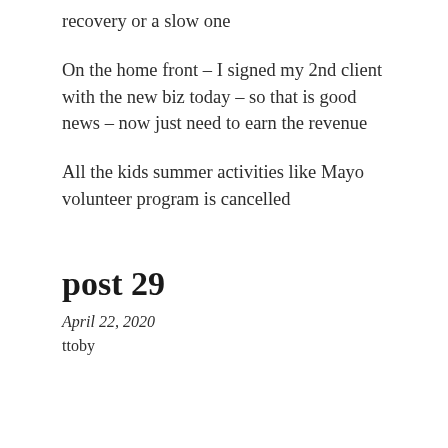recovery or a slow one
On the home front – I signed my 2nd client with the new biz today – so that is good news – now just need to earn the revenue
All the kids summer activities like Mayo volunteer program is cancelled
post 29
April 22, 2020
ttoby